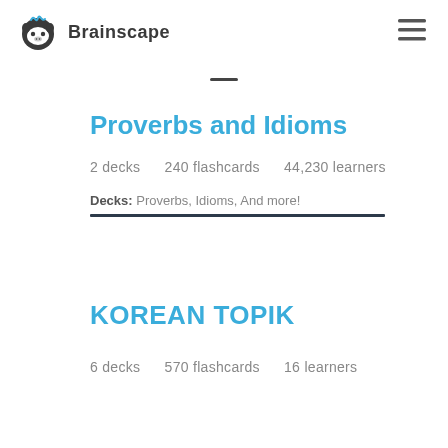Brainscape
Proverbs and Idioms
2 decks   240 flashcards   44,230 learners
Decks: Proverbs, Idioms, And more!
KOREAN TOPIK
6 decks   570 flashcards   16 learners